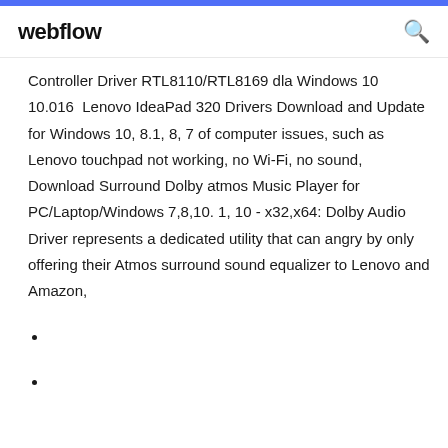webflow
Controller Driver RTL8110/RTL8169 dla Windows 10 10.016  Lenovo IdeaPad 320 Drivers Download and Update for Windows 10, 8.1, 8, 7 of computer issues, such as Lenovo touchpad not working, no Wi-Fi, no sound,  Download Surround Dolby atmos Music Player for PC/Laptop/Windows 7,8,10. 1, 10 - x32,x64: Dolby Audio Driver represents a dedicated utility that can angry by only offering their Atmos surround sound equalizer to Lenovo and Amazon,